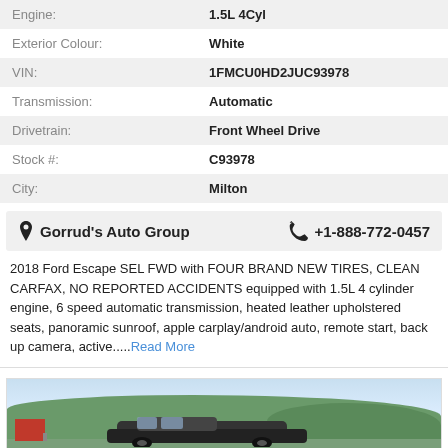| Attribute | Value |
| --- | --- |
| Engine: | 1.5L 4Cyl |
| Exterior Colour: | White |
| VIN: | 1FMCU0HD2JUC93978 |
| Transmission: | Automatic |
| Drivetrain: | Front Wheel Drive |
| Stock #: | C93978 |
| City: | Milton |
Gorrud's Auto Group  +1-888-772-0457
2018 Ford Escape SEL FWD with FOUR BRAND NEW TIRES, CLEAN CARFAX, NO REPORTED ACCIDENTS equipped with 1.5L 4 cylinder engine, 6 speed automatic transmission, heated leather upholstered seats, panoramic sunroof, apple carplay/android auto, remote start, back up camera, active.....Read More
[Figure (photo): Outdoor photo of a dark-colored Ford Escape SUV in a parking lot with green hills and sky in the background, red building visible on the left.]